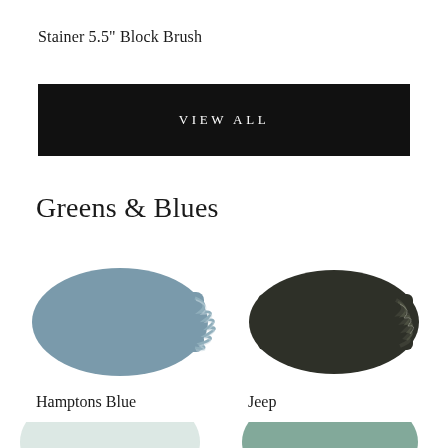Stainer 5.5" Block Brush
[Figure (other): Black button/banner with white spaced text reading VIEW ALL]
Greens & Blues
[Figure (other): Two paint color swatches side by side: left is Hamptons Blue (muted blue-grey), right is Jeep (very dark olive-black)]
Hamptons Blue
Jeep
[Figure (other): Two partial paint color swatches at bottom of page: left is very light mint/white, right is muted sage green]